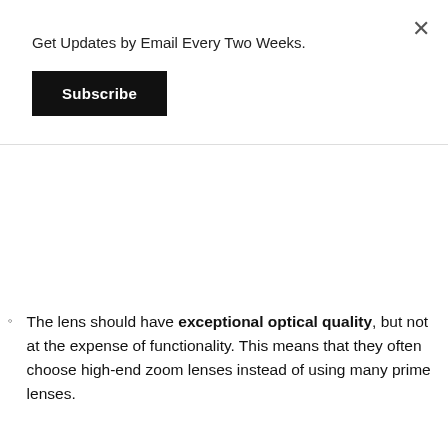Get Updates by Email Every Two Weeks.
Subscribe
The lens should have exceptional optical quality, but not at the expense of functionality. This means that they often choose high-end zoom lenses instead of using many prime lenses.